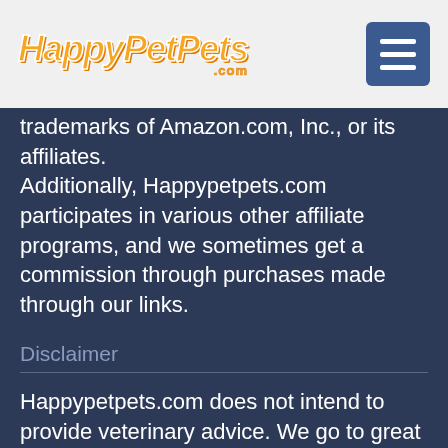HappyPetPets.com
trademarks of Amazon.com, Inc., or its affiliates. Additionally, Happypetpets.com participates in various other affiliate programs, and we sometimes get a commission through purchases made through our links.
Disclaimer
Happypetpets.com does not intend to provide veterinary advice. We go to great lengths to help users better